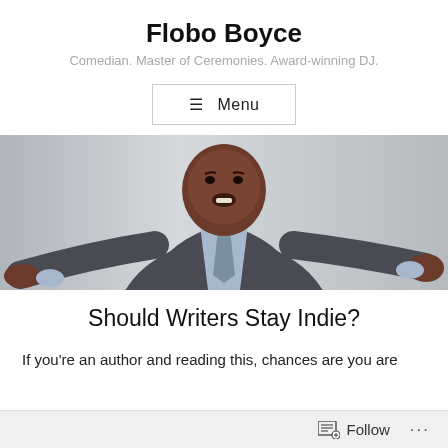Flobo Boyce
Comedian. Master of Ceremonies. Award-winning DJ.
≡ Menu
[Figure (photo): A man in a dark gray suit with arms spread wide open, smiling, against a light gray background.]
Should Writers Stay Indie?
If you're an author and reading this, chances are you are